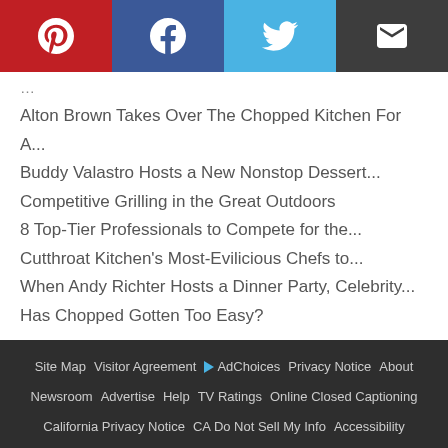[Figure (infographic): Social sharing buttons row: Pinterest (red), Facebook (dark blue), Twitter (light blue), Email (dark gray)]
Alton Brown Takes Over The Chopped Kitchen For A...
Buddy Valastro Hosts a New Nonstop Dessert...
Competitive Grilling in the Great Outdoors
8 Top-Tier Professionals to Compete for the...
Cutthroat Kitchen's Most-Evilicious Chefs to...
When Andy Richter Hosts a Dinner Party, Celebrity...
Has Chopped Gotten Too Easy?
Site Map | Visitor Agreement | AdChoices | Privacy Notice | About | Newsroom | Advertise | Help | TV Ratings | Online Closed Captioning | California Privacy Notice | CA Do Not Sell My Info | Accessibility | Newsletters | Discovery, Inc. | © 2022 Warner Bros. Discovery, Inc. or its subsidiaries and affiliates. All rights reserved.